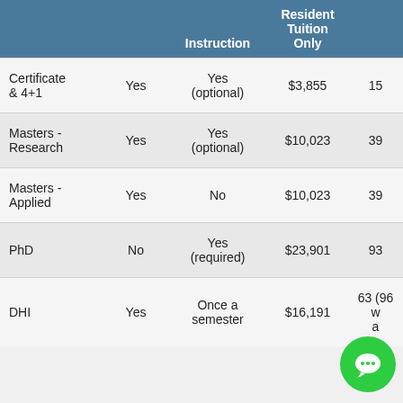|  |  | Instruction | Resident Tuition Only |  |
| --- | --- | --- | --- | --- |
| Certificate & 4+1 | Yes | Yes (optional) | $3,855 | 15 |
| Masters - Research | Yes | Yes (optional) | $10,023 | 39 |
| Masters - Applied | Yes | No | $10,023 | 39 |
| PhD | No | Yes (required) | $23,901 | 93 |
| DHI | Yes | Once a semester | $16,191 | 63 (96 w a |